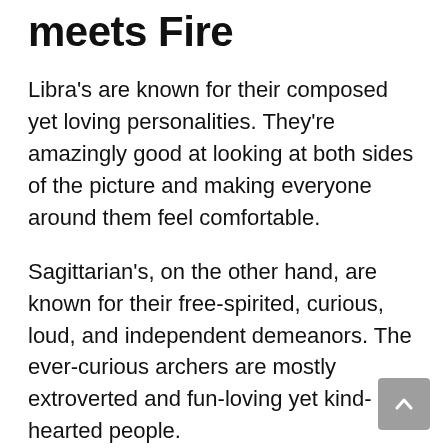meets Fire
Libra's are known for their composed yet loving personalities. They're amazingly good at looking at both sides of the picture and making everyone around them feel comfortable.
Sagittarian's, on the other hand, are known for their free-spirited, curious, loud, and independent demeanors. The ever-curious archers are mostly extroverted and fun-loving yet kind-hearted people.
So what happens when the balanced beam meets the archer?